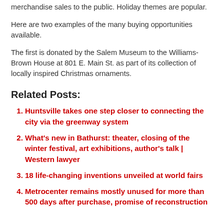merchandise sales to the public. Holiday themes are popular.
Here are two examples of the many buying opportunities available.
The first is donated by the Salem Museum to the Williams-Brown House at 801 E. Main St. as part of its collection of locally inspired Christmas ornaments.
Related Posts:
Huntsville takes one step closer to connecting the city via the greenway system
What's new in Bathurst: theater, closing of the winter festival, art exhibitions, author's talk | Western lawyer
18 life-changing inventions unveiled at world fairs
Metrocenter remains mostly unused for more than 500 days after purchase, promise of reconstruction